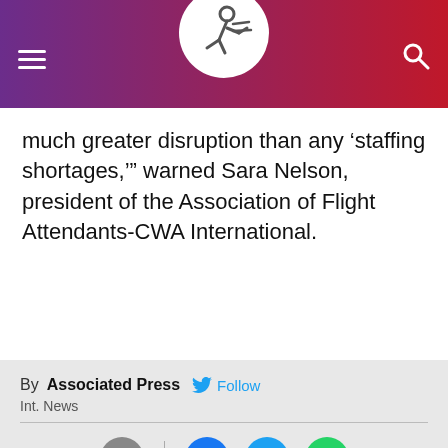Navigation header with logo, hamburger menu, and search icon
much greater disruption than any ‘staffing shortages,’” warned Sara Nelson, president of the Association of Flight Attendants-CWA International.
By Associated Press  Follow
Int. News
[Figure (infographic): Social sharing icons: comment/speech bubble (grey), Facebook (blue), Twitter (blue), WhatsApp (green)]
Advertisement